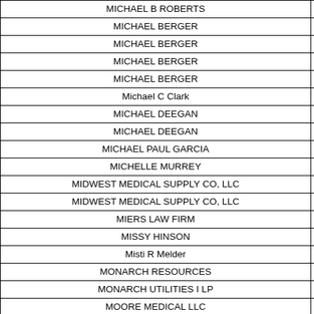| Name | Category |
| --- | --- |
| MICHAEL B ROBERTS | Professional |
| MICHAEL BERGER | Counsel F |
| MICHAEL BERGER | Cnsl Fees-C |
| MICHAEL BERGER | Counsel Fe |
| MICHAEL BERGER | Cnsl Fees-J |
| Michael C Clark | Educa |
| MICHAEL DEEGAN | Counsel Fe |
| MICHAEL DEEGAN | Counsel Fe |
| MICHAEL PAUL GARCIA | Counsel Fe |
| MICHELLE MURREY | Cloth |
| MIDWEST MEDICAL SUPPLY CO, LLC | Medical S |
| MIDWEST MEDICAL SUPPLY CO, LLC | Lab Su |
| MIERS LAW FIRM | Counsel Fe |
| MISSY HINSON | Cloth |
| Misti R Melder | Educa |
| MONARCH RESOURCES | Lab Su |
| MONARCH UTILITIES I LP | Utility Ass |
| MOORE MEDICAL LLC | Supp |
| MOORE MEDICAL LLC | Medical S |
| MORPHOTRUST USA INC | Non-Track E |
| MORPHOTRUST USA INC | Capital Outl |
| MORRISON SUPPLY COMPANY | Building Ma |
| MOSAIC HILLSTONE LP | Utility Ass |